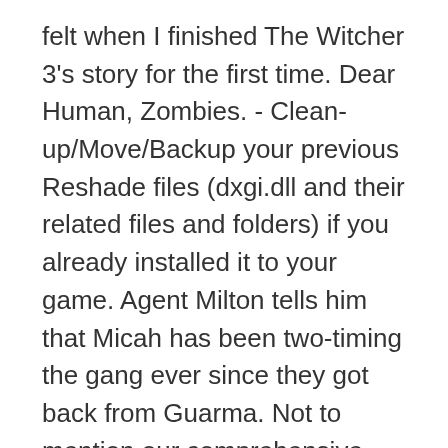felt when I finished The Witcher 3's story for the first time. Dear Human, Zombies. - Clean-up/Move/Backup your previous Reshade files (dxgi.dll and their related files and folders) if you already installed it to your game. Agent Milton tells him that Micah has been two-timing the gang ever since they got back from Guarma. Not to mention our comprehensive cheat codes section. Here is the list of complete patch notes of the latest RDR2 Update 1.23 that is released on August 24, 2020. Rifles excels in long range sniping due to its high precision and damage per shot. If for one reason or another you have been putting this game on the sidelines, stop doing it. Red Dead Redemption 2 (stylized as Red Dead